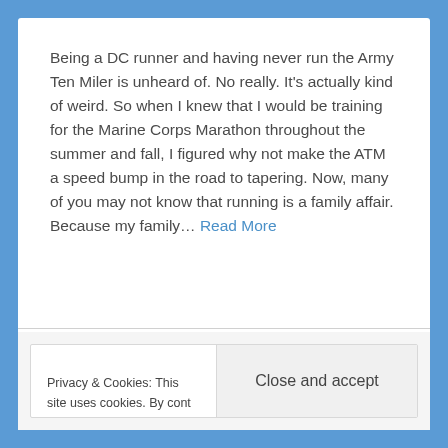Being a DC runner and having never run the Army Ten Miler is unheard of. No really. It's actually kind of weird. So when I knew that I would be training for the Marine Corps Marathon throughout the summer and fall, I figured why not make the ATM a speed bump in the road to tapering. Now, many of you may not know that running is a family affair. Because my family... Read More
Privacy & Cookies: This site uses cookies. By cont[inuing to use this] website, you agree to their use. To find out more, including how to control cookie[s, see here:]
Close and accept